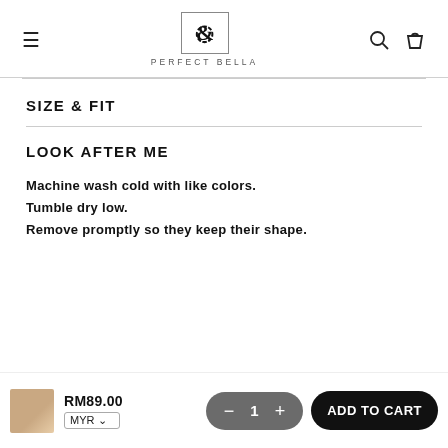≡  PERFECT BELLA  🔍  🛍
SIZE & FIT
LOOK AFTER ME
Machine wash cold with like colors.
Tumble dry low.
Remove promptly so they keep their shape.
RM89.00  MYR  — 1 +  ADD TO CART